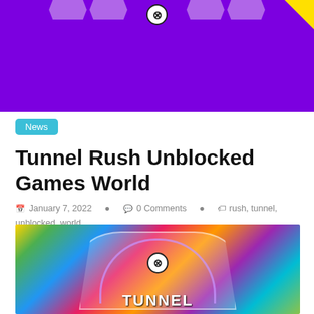[Figure (screenshot): Purple advertisement banner with hexagonal decorations at top, close button, and yellow corner triangle]
News
Tunnel Rush Unblocked Games World
January 7, 2022  0 Comments  rush, tunnel, unblocked, world
Tunnel Rush Unblocked Games World. You cannot crash into these obstacles. Please allow for up to 30 seconds for the game to load.
[Figure (screenshot): Tunnel Rush game screenshot showing colorful geometric background with a tunnel arch and TUNNEL text]